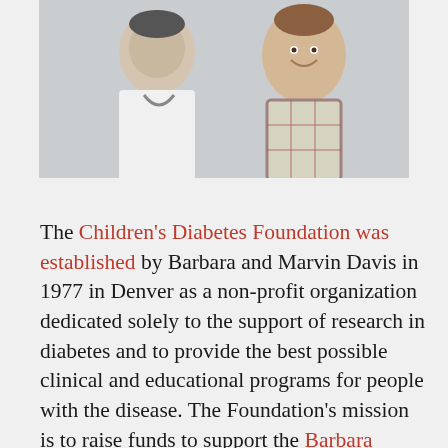[Figure (photo): A doctor (adult wearing white coat and stethoscope) posing with a smiling young boy in a plaid shirt. The photo has a light background.]
The Children's Diabetes Foundation was established by Barbara and Marvin Davis in 1977 in Denver as a non-profit organization dedicated solely to the support of research in diabetes and to provide the best possible clinical and educational programs for people with the disease. The Foundation's mission is to raise funds to support the Barbara Davis Center for Diabetes and the care of